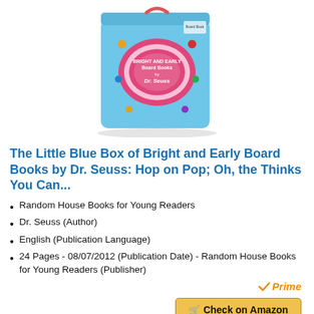[Figure (photo): The Little Blue Box of Bright and Early Board Books by Dr. Seuss product image - a light blue box set with colorful illustrations and a pink oval logo, showing Dr. Seuss branding]
The Little Blue Box of Bright and Early Board Books by Dr. Seuss: Hop on Pop; Oh, the Thinks You Can...
Random House Books for Young Readers
Dr. Seuss (Author)
English (Publication Language)
24 Pages - 08/07/2012 (Publication Date) - Random House Books for Young Readers (Publisher)
[Figure (logo): Amazon Prime logo with orange checkmark and italic Prime text]
Check on Amazon